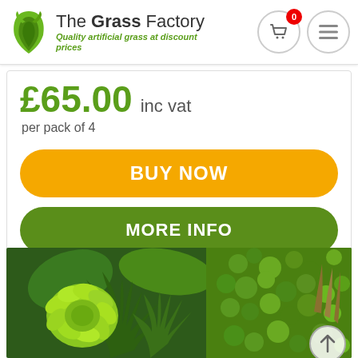The Grass Factory — Quality artificial grass at discount prices
£65.00 inc vat
per pack of 4
BUY NOW
MORE INFO
[Figure (photo): Close-up photo of artificial green wall panels featuring various types of artificial foliage including ferns, ivy, and yellow-green tropical leaves]